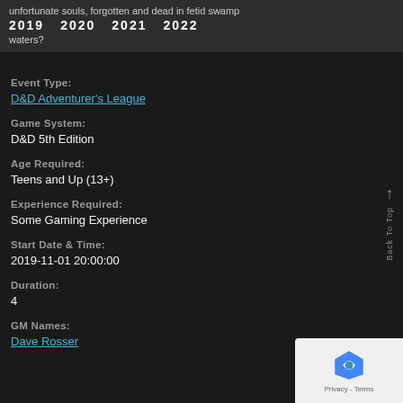unfortunate souls, forgotten and dead in fetid swamp waters? 2019 2020 2021 2022
Event Type:
D&D Adventurer's League
Game System:
D&D 5th Edition
Age Required:
Teens and Up (13+)
Experience Required:
Some Gaming Experience
Start Date & Time:
2019-11-01 20:00:00
Duration:
4
GM Names:
Dave Rosser